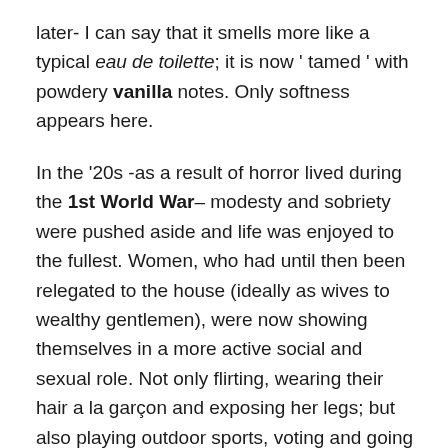later- I can say that it smells more like a typical eau de toilette; it is now ' tamed ' with powdery vanilla notes. Only softness appears here.
In the '20s -as a result of horror lived during the 1st World War– modesty and sobriety were pushed aside and life was enjoyed to the fullest. Women, who had until then been relegated to the house (ideally as wives to wealthy gentlemen), were now showing themselves in a more active social and sexual role. Not only flirting, wearing their hair a la garçon and exposing her legs; but also playing outdoor sports, voting and going to university. Figures such as Virginia Woolf, Colette and Gertrude Stein gleamed in those years.
In the 80's this process of female leading alongside men became complete; it is no longer unusual to see women in